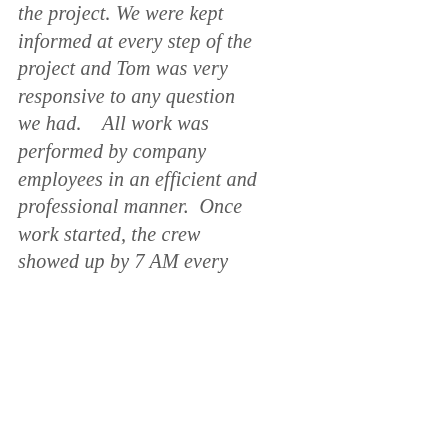the project. We were kept informed at every step of the project and Tom was very responsive to any question we had.    All work was performed by company employees in an efficient and professional manner.  Once work started, the crew showed up by 7 AM every